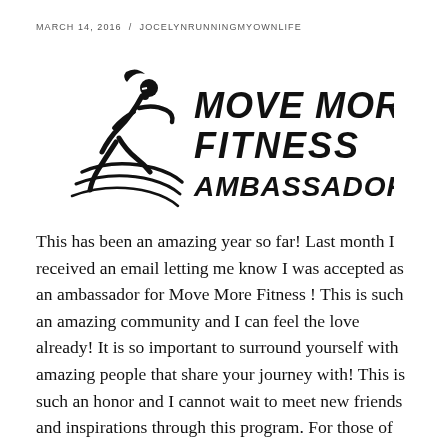MARCH 14, 2016  /  JOCELYNRUNNINGMYOWNLIFE
[Figure (logo): Move More Fitness Ambassador logo — stylized runner figure on left, bold text 'MOVE MORE FITNESS AMBASSADOR' on right]
This has been an amazing year so far!  Last month I received an email letting me know I was accepted as an ambassador for Move More Fitness ! This is such an amazing community and I can feel the love already! It is so important to surround yourself with amazing people that share your journey with! This is such an honor and I cannot wait to meet new friends and inspirations through this program.  For those of you who do not know what Move More Fitness is here is their mission